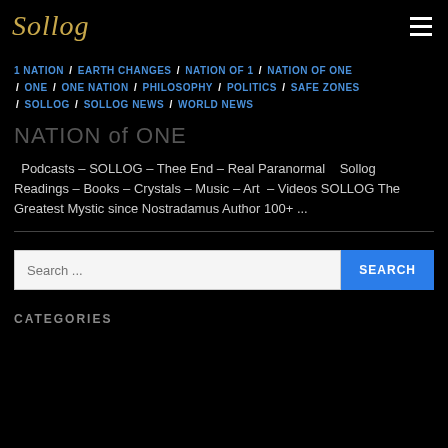Sollog
1 NATION / EARTH CHANGES / NATION OF 1 / NATION OF ONE / ONE / ONE NATION / PHILOSOPHY / POLITICS / SAFE ZONES / SOLLOG / SOLLOG NEWS / WORLD NEWS
NATION of ONE
Podcasts – SOLLOG – Thee End – Real Paranormal   Sollog Readings – Books – Crystals – Music – Art  – Videos SOLLOG The Greatest Mystic since Nostradamus Author 100+ ...
CATEGORIES